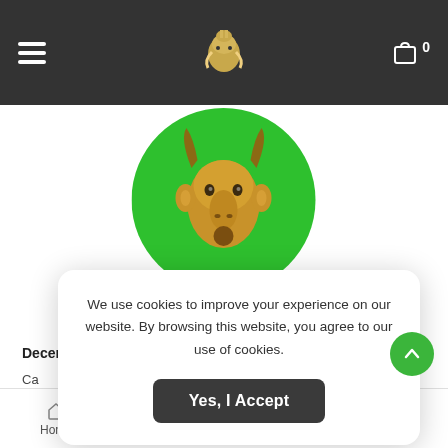Navigation bar with hamburger menu, logo, and cart (0)
[Figure (illustration): Capricornus zodiac sign illustration: a brown goat head on a circular green background]
CAPRICORNUS
December 22 to 19 January
Ca... ed by th... e re... thei pr...
We use cookies to improve your experience on our website. By browsing this website, you agree to our use of cookies.
Yes, I Accept
Home   Cart (0)   Wishlist (0)   Login